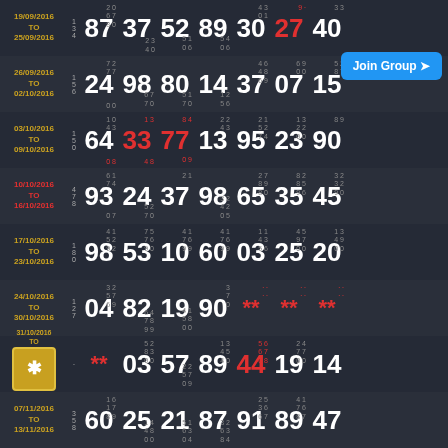| Date | Seq | N1 | N2 | N3 | N4 | N5 | N6 | N7 | N8 | N9 | N10 | N11 |
| --- | --- | --- | --- | --- | --- | --- | --- | --- | --- | --- | --- | --- |
| 19/09/2016 TO 25/09/2016 |  | 87 | 37 | 52 | 89 | 30 | 27 | 40 |
| 26/09/2016 TO 02/10/2016 |  | 24 | 98 | 80 | 14 | 37 | 07 | 15 |
| 03/10/2016 TO 09/10/2016 |  | 64 | 33 | 77 | 13 | 95 | 23 | 90 |
| 10/10/2016 TO 16/10/2016 |  | 93 | 24 | 37 | 98 | 65 | 35 | 45 |
| 17/10/2016 TO 23/10/2016 |  | 98 | 53 | 10 | 60 | 03 | 25 | 20 |
| 24/10/2016 TO 30/10/2016 |  | 04 | 82 | 19 | 90 | ** | ** | ** |
| 31/10/2016 TO 06/11/2016 |  | ** | 03 | 57 | 89 | 44 | 19 | 14 |
| 07/11/2016 TO 13/11/2016 |  | 60 | 25 | 21 | 87 | 91 | 89 | 47 |
| 14/11/2016 TO 20/11/2016 |  | 67 | 33 | 53*41 | 44 | 02 | 12 |